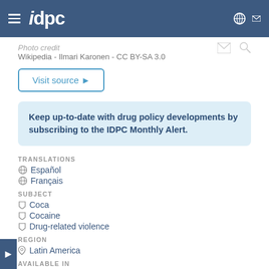IDPC navigation bar
Wikipedia - Ilmari Karonen - CC BY-SA 3.0
Visit source ➤
Keep up-to-date with drug policy developments by subscribing to the IDPC Monthly Alert.
TRANSLATIONS
Español
Français
SUBJECT
Coca
Cocaine
Drug-related violence
REGION
Latin America
AVAILABLE IN